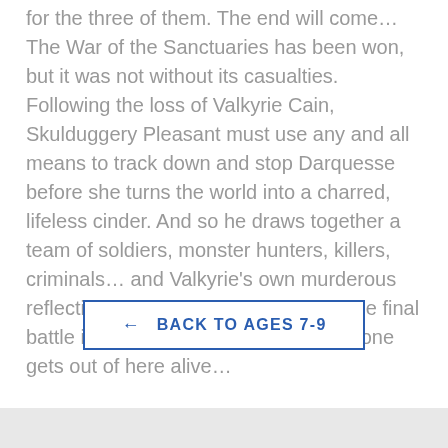for the three of them. The end will come… The War of the Sanctuaries has been won, but it was not without its casualties. Following the loss of Valkyrie Cain, Skulduggery Pleasant must use any and all means to track down and stop Darquesse before she turns the world into a charred, lifeless cinder. And so he draws together a team of soldiers, monster hunters, killers, criminals… and Valkyrie's own murderous reflection. The war may be over, but the final battle is about to begin. And not everyone gets out of here alive…
← BACK TO AGES 7-9